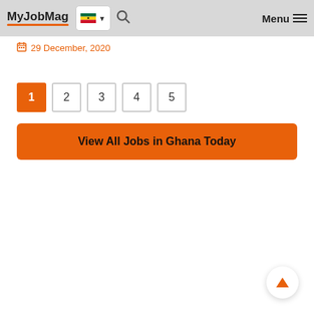MyJobMag | Menu
29 December, 2020
1
2
3
4
5
View All Jobs in Ghana Today